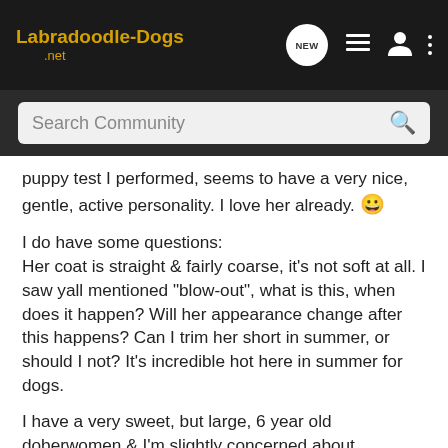Labradoodle-Dogs .net
Search Community
puppy test I performed, seems to have a very nice, gentle, active personality. I love her already. 😀
I do have some questions:
Her coat is straight & fairly coarse, it's not soft at all. I saw yall mentioned "blow-out", what is this, when does it happen? Will her appearance change after this happens? Can I trim her short in summer, or should I not? It's incredible hot here in summer for dogs.
I have a very sweet, but large, 6 year old doberwomen & I'm slightly concerned about adjustment. Our dobie is active, raised with other dogs & gets along with the ones she knows well. Is there any concern about having 2 females in one house permanently? My husband thinks so...